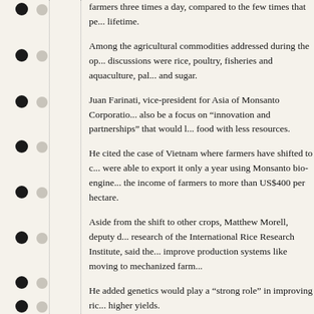farmers three times a day, compared to the few times that pe... lifetime.
Among the agricultural commodities addressed during the op... discussions were rice, poultry, fisheries and aquaculture, pal... and sugar.
Juan Farinati, vice-president for Asia of Monsanto Corporatio... also be a focus on “innovation and partnerships” that would l... food with less resources.
He cited the case of Vietnam where farmers have shifted to c... were able to export it only a year using Monsanto bio-engine... the income of farmers to more than US$400 per hectare.
Aside from the shift to other crops, Matthew Morell, deputy d... research of the International Rice Research Institute, said the... improve production systems like moving to mechanized farm...
He added genetics would play a “strong role” in improving ric... higher yields.
Guy Hogge, head of sustainability of Louis Dreyfus Commod... said farmers in rural areas might not have access to markets... government intervention in agriculture.
Sugar, on the other hand, once the biggest export commodit...